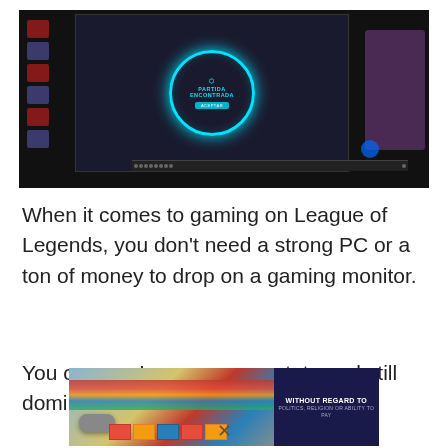[Figure (screenshot): Screenshot of a computer monitor showing League of Legends game client with a match found notification (PARTIDA ENCONTRADA) displayed as a glowing cyan circle on a dark desktop background with icons]
When it comes to gaming on League of Legends, you don't need a strong PC or a ton of money to drop on a gaming monitor.
You can run League on a potato and still dominate
[Figure (photo): Advertisement photo showing a cargo plane being loaded with colorful cargo boxes, with an overlay text box reading WITHOUT REGARD TO POLITICS, RELIGION OR ABILITY TO PAY]